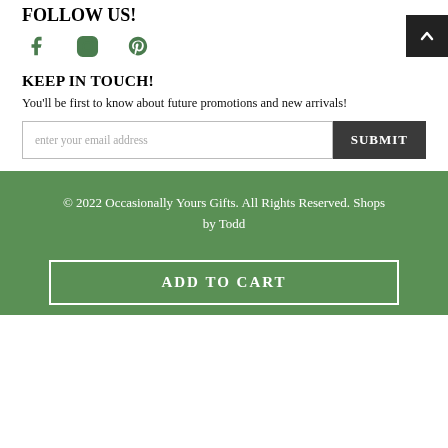FOLLOW US!
[Figure (illustration): Social media icons: Facebook (f), Instagram (circle camera), Pinterest (P) in green]
KEEP IN TOUCH!
You'll be first to know about future promotions and new arrivals!
enter your email address [input field] SUBMIT [button]
© 2022 Occasionally Yours Gifts. All Rights Reserved. Shops by Todd
ADD TO CART